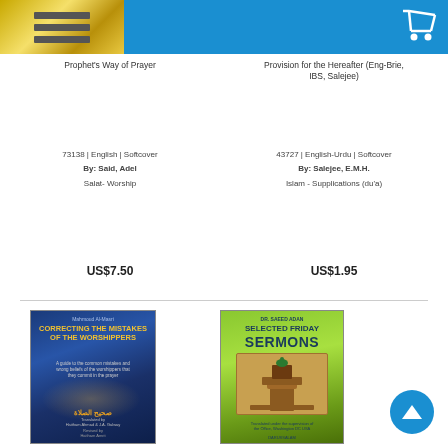Prophet's Way of Prayer
73138 | English | Softcover
By: Said, Adel
Salat- Worship
US$7.50
Provision for the Hereafter (Eng-Brie, IBS, Salejee)
43727 | English-Urdu | Softcover
By: Salejee, E.M.H.
Islam - Supplications (du'a)
US$1.95
[Figure (photo): Blue book cover titled 'Correcting the Mistakes of the Worshippers' with Arabic text and light effect]
[Figure (photo): Green book cover titled 'Selected Friday Sermons' with image of a minbar/pulpit]